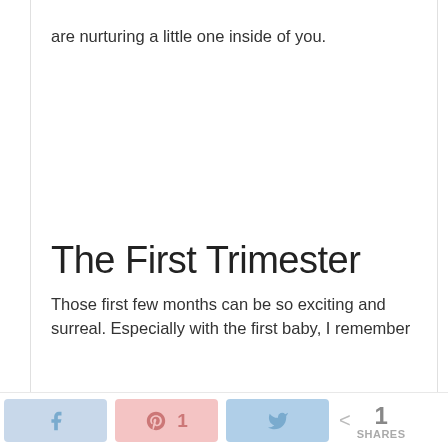are nurturing a little one inside of you.
The First Trimester
Those first few months can be so exciting and surreal. Especially with the first baby, I remember
Share buttons: Facebook, Pinterest 1, Twitter | < 1 SHARES